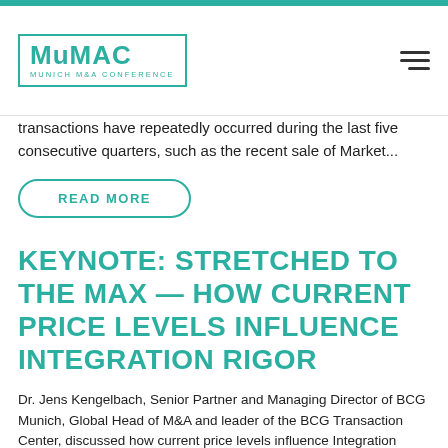MuMAC MUNICH M&A CONFERENCE
transactions have repeatedly occurred during the last five consecutive quarters, such as the recent sale of Market...
READ MORE
KEYNOTE: STRETCHED TO THE MAX — HOW CURRENT PRICE LEVELS INFLUENCE INTEGRATION RIGOR
Dr. Jens Kengelbach, Senior Partner and Managing Director of BCG Munich, Global Head of M&A and leader of the BCG Transaction Center, discussed how current price levels influence Integration Rigor. The first 6 months of 2018 have shown a record deal activity,